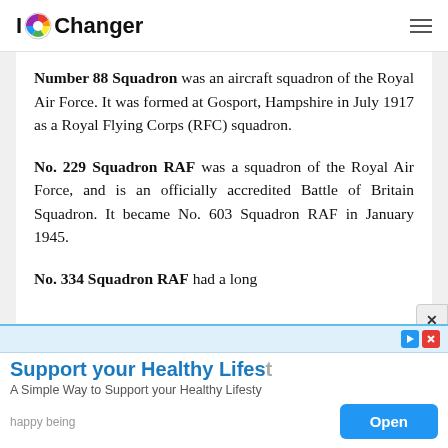IOChanger
Number 88 Squadron was an aircraft squadron of the Royal Air Force. It was formed at Gosport, Hampshire in July 1917 as a Royal Flying Corps (RFC) squadron.
No. 229 Squadron RAF was a squadron of the Royal Air Force, and is an officially accredited Battle of Britain Squadron. It became No. 603 Squadron RAF in January 1945.
No. 334 Squadron RAF had a long
[Figure (screenshot): Advertisement banner: 'Support your Healthy Lifes' with subtitle 'A Simple Way to Support your Healthy Lifesty', brand 'happy being', and an Open button.]